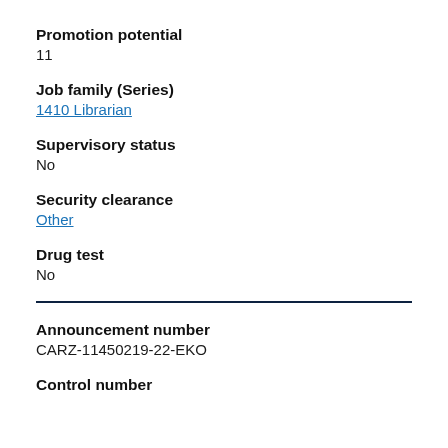Promotion potential
11
Job family (Series)
1410 Librarian
Supervisory status
No
Security clearance
Other
Drug test
No
Announcement number
CARZ-11450219-22-EKO
Control number